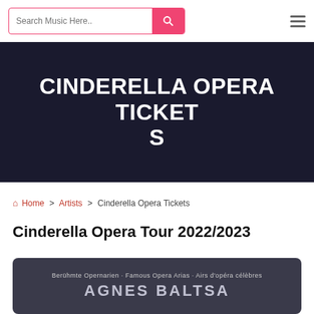Search Music Here..
CINDERELLA OPERA TICKETS
Home > Artists > Cinderella Opera Tickets
Cinderella Opera Tour 2022/2023
[Figure (photo): Album card showing 'Berühmte Opernarien · Famous Opera Arias · Airs d'opéra célèbres' and 'AGNES BALTSA' text on dark background]